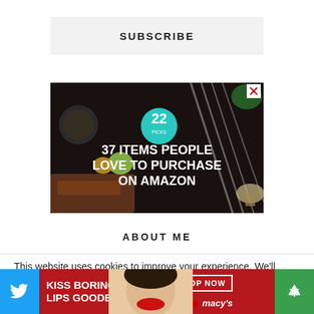SUBSCRIBE
[Figure (infographic): Advertisement banner on dark background showing kitchen knives and food items with text '22' in teal circle and '37 ITEMS PEOPLE LOVE TO PURCHASE ON AMAZON' in white bold text. Close X button at top right.]
ABOUT ME
This website uses cookies to improve your experience. We'll assume you're ok with this, but you can opt-out if you wish.
[Figure (infographic): Bottom ad bar: Twitter bird icon on blue left, red Macy's ad with 'KISS BORING LIPS GOODBYE', 'SHOP NOW' button, macy's star logo, woman's face with red lips in center, green recycle icon on right.]